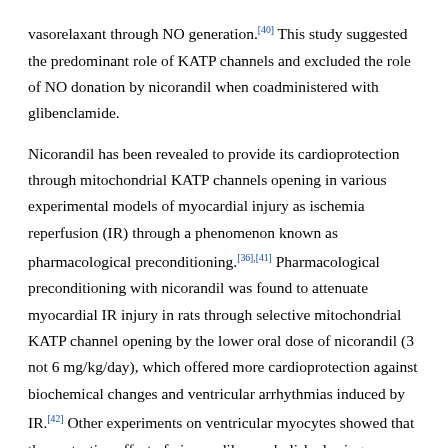vasorelaxant through NO generation.[40] This study suggested the predominant role of KATP channels and excluded the role of NO donation by nicorandil when coadministered with glibenclamide.
Nicorandil has been revealed to provide its cardioprotection through mitochondrial KATP channels opening in various experimental models of myocardial injury as ischemia reperfusion (IR) through a phenomenon known as pharmacological preconditioning.[36],[41] Pharmacological preconditioning with nicorandil was found to attenuate myocardial IR injury in rats through selective mitochondrial KATP channel opening by the lower oral dose of nicorandil (3 not 6 mg/kg/day), which offered more cardioprotection against biochemical changes and ventricular arrhythmias induced by IR.[42] Other experiments on ventricular myocytes showed that the protective effect of nicorandil was abolished using selective blocker of mitochondrial KATP channel (5-hydroxydecanoate), confirming the role of mitochondrial KATP and not its sarcolemmal counterpart as a target for nicorandil's cardioprotective action.[43] Nicorandil also ameliorated the dysfunction of mitochondria and its downstream pathways in experimentally induced heart failure via amelioration of mitochondrial oxidative stress status and its consequent detrimental myocardial inhibition of cytochrome...